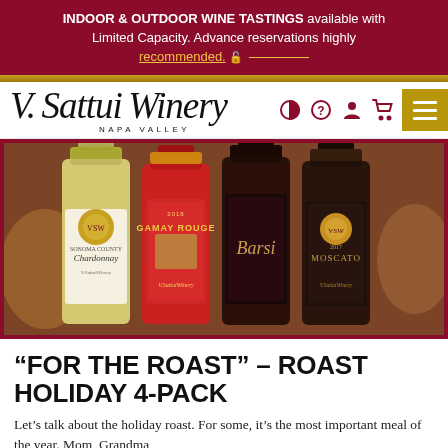INDOOR & OUTDOOR WINE TASTINGS available with Limited Capacity. Advance reservations highly recommended.
[Figure (logo): V. Sattui Winery Napa Valley logo with navigation icons and hamburger menu]
[Figure (photo): Four wine bottles from V. Sattui Winery: Sonoma County Chardonnay, 2018 Gamay Rouge, Barsi, and 2017 Moscato, photographed against a holiday feast background with red border frame]
“FOR THE ROAST” – ROAST HOLIDAY 4-PACK
Let’s talk about the holiday roast. For some, it’s the most important meal of the year. Mom, Grandma